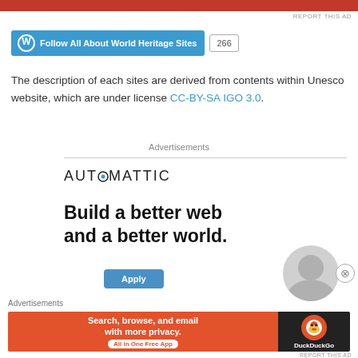[Figure (other): Red advertisement banner at top of page]
REPORT THIS AD
[Figure (other): WordPress Follow button for All About World Heritage Sites with follower count 266]
The description of each sites are derived from contents within Unesco website, which are under license CC-BY-SA IGO 3.0.
Advertisements
[Figure (other): Automattic advertisement - Build a better web and a better world. Apply button with person photo.]
Advertisements
[Figure (other): DuckDuckGo advertisement banner - Search, browse, and email with more privacy. All in One Free App.]